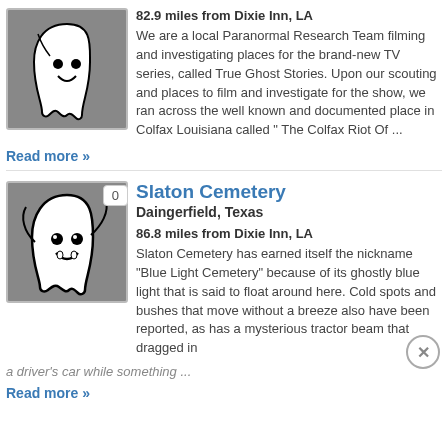[Figure (illustration): Ghost icon on grey background - upper entry thumbnail]
82.9 miles from Dixie Inn, LA
We are a local Paranormal Research Team filming and investigating places for the brand-new TV series, called True Ghost Stories. Upon our scouting and places to film and investigate for the show, we ran across the well known and documented place in Colfax Louisiana called " The Colfax Riot Of ...
Read more »
[Figure (illustration): Ghost icon on grey background - Slaton Cemetery entry thumbnail with badge 0]
Slaton Cemetery
Daingerfield, Texas
86.8 miles from Dixie Inn, LA
Slaton Cemetery has earned itself the nickname "Blue Light Cemetery" because of its ghostly blue light that is said to float around here. Cold spots and bushes that move without a breeze also have been reported, as has a mysterious tractor beam that dragged in
a driver's car while something ...
Read more »